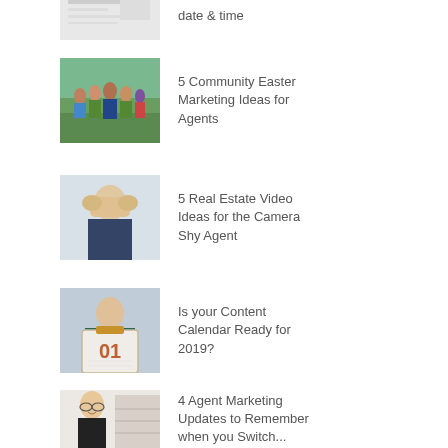[Figure (screenshot): Partial thumbnail of a document/spreadsheet screenshot at top of page, partially cropped]
date & time
[Figure (photo): Group of people outdoors, community Easter gathering]
5 Community Easter Marketing Ideas for Agents
[Figure (photo): Man covering face with hands, camera shy concept]
5 Real Estate Video Ideas for the Camera Shy Agent
[Figure (photo): Person holding a calendar showing number 01]
Is your Content Calendar Ready for 2019?
[Figure (photo): Woman with glasses smiling in office setting]
4 Agent Marketing Updates to Remember when you Switch...